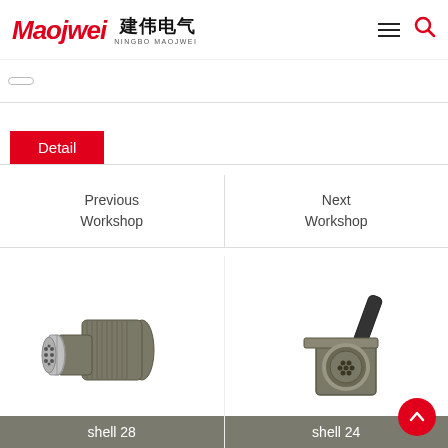Maojwei 建伟电气 NINGBO MAOJWEI
Detail
Previous Workshop
Next Workshop
[Figure (photo): Military circular right-angle connector with knurled olive-drab shell, labeled shell 28]
shell 28
[Figure (photo): Military circular connector with square flange mount and olive-drab shell, labeled shell 24]
shell 24